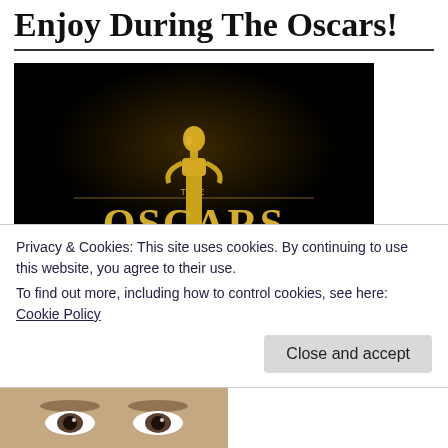Enjoy During The Oscars!
[Figure (photo): The Oscars promotional image with gold Oscar statuette on black background and 'THE OSCARS' text in gold lettering]
The Oscars are on Sunday.  I love the Oscars.  Here at work, we do an Oscar pool.  There are 3 top prizes to be won, so on Sunday night I will be curled up with my glass
Privacy & Cookies: This site uses cookies. By continuing to use this website, you agree to their use.
To find out more, including how to control cookies, see here: Cookie Policy
[Figure (photo): Partial photo of a person at bottom of page, cropped]